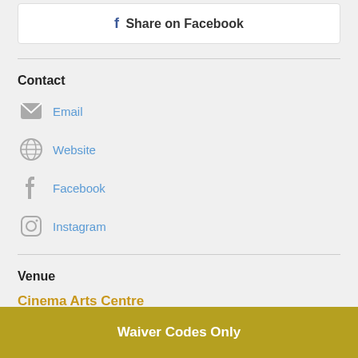f Share on Facebook
Contact
Email
Website
Facebook
Instagram
Venue
Cinema Arts Centre
423 Park Avenue
Waiver Codes Only